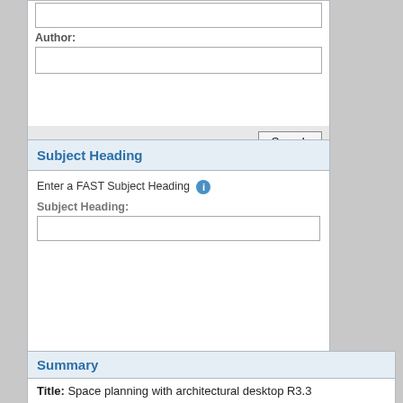Author:
[Figure (screenshot): Author input text field (empty)]
[Figure (screenshot): Search button in gray footer bar]
Subject Heading
Enter a FAST Subject Heading
Subject Heading:
[Figure (screenshot): Subject Heading input text field (empty)]
[Figure (screenshot): Search button in gray footer bar]
Summary
Title: Space planning with architectural desktop R3.3